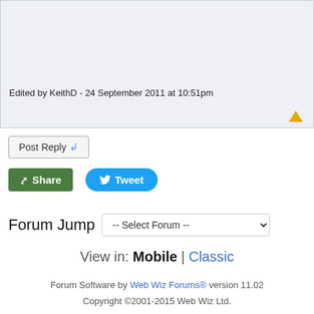Edited by KeithD - 24 September 2011 at 10:51pm
Post Reply
Share | Tweet
Forum Jump -- Select Forum --
View in: Mobile | Classic
Forum Software by Web Wiz Forums® version 11.02
Copyright ©2001-2015 Web Wiz Ltd.